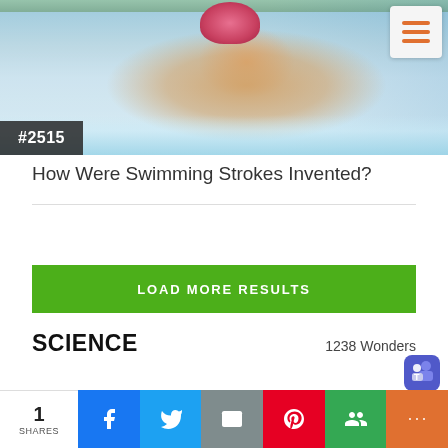[Figure (photo): A competitive swimmer wearing a pink swim cap and goggles, performing butterfly stroke in a pool. A hamburger menu button (orange lines) appears in the top-right corner over a light gray square background. A dark badge showing #2515 appears in the bottom-left of the image.]
#2515
How Were Swimming Strokes Invented?
LOAD MORE RESULTS
SCIENCE
1238 Wonders
[Figure (photo): Partial view of another article image showing a blue background with what appears to be a green frog.]
1
SHARES